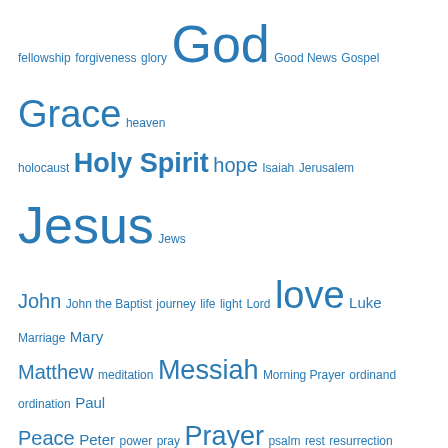fellowship forgiveness glory God Good News Gospel Grace heaven holocaust Holy Spirit hope Isaiah Jerusalem Jesus Jews John John the Baptist journey life light Lord love Luke Marriage Mary Matthew meditation Messiah Morning Prayer ordinand ordination Paul Peace Peter power pray Prayer psalm rest resurrection revelation risen salvation Shoah silence stillness St Paul Thomas trust wisdom Word worship Yad Vashem
Archives
June 2022
May 2022
March 2022
December 2021
September 2021
June 2021